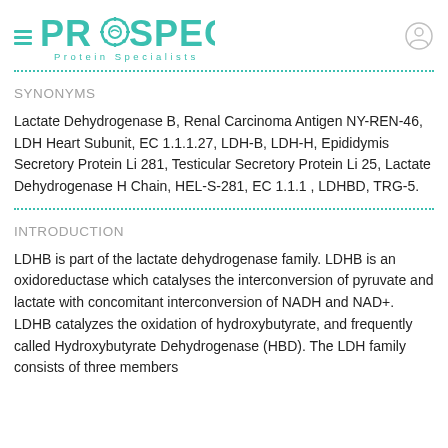[Figure (logo): ProSpec Protein Specialists logo with hamburger menu icon on left and user account icon on right]
SYNONYMS
Lactate Dehydrogenase B, Renal Carcinoma Antigen NY-REN-46, LDH Heart Subunit, EC 1.1.1.27, LDH-B, LDH-H, Epididymis Secretory Protein Li 281, Testicular Secretory Protein Li 25, Lactate Dehydrogenase H Chain, HEL-S-281, EC 1.1.1 , LDHBD, TRG-5.
INTRODUCTION
LDHB is part of the lactate dehydrogenase family. LDHB is an oxidoreductase which catalyses the interconversion of pyruvate and lactate with concomitant interconversion of NADH and NAD+. LDHB catalyzes the oxidation of hydroxybutyrate, and frequently called Hydroxybutyrate Dehydrogenase (HBD). The LDH family consists of three members